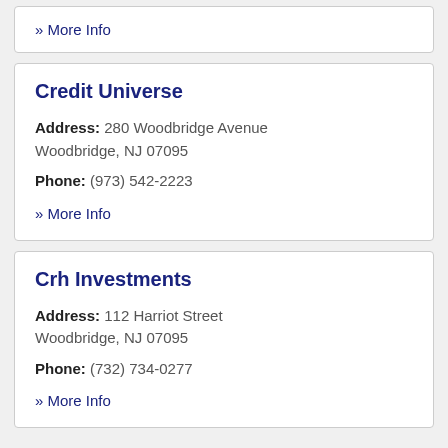» More Info
Credit Universe
Address: 280 Woodbridge Avenue Woodbridge, NJ 07095
Phone: (973) 542-2223
» More Info
Crh Investments
Address: 112 Harriot Street Woodbridge, NJ 07095
Phone: (732) 734-0277
» More Info